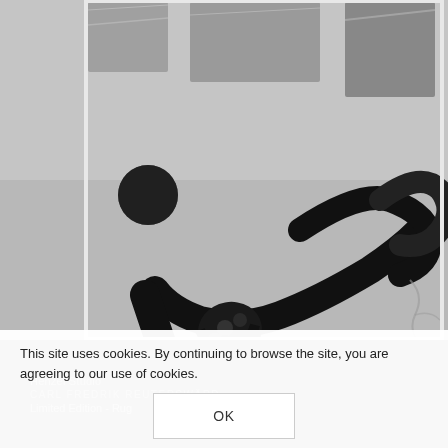[Figure (photo): Black and white overhead photo of a knotted revolver gun sculpture (Non-Violence sculpture style) with barrel tied in a knot, surrounded by various dark objects on a light grey surface]
Henzel Studio
CARL FREDRIK REUTERSWÄRD
Limited Edition - Rug
This site uses cookies. By continuing to browse the site, you are agreeing to our use of cookies.
OK